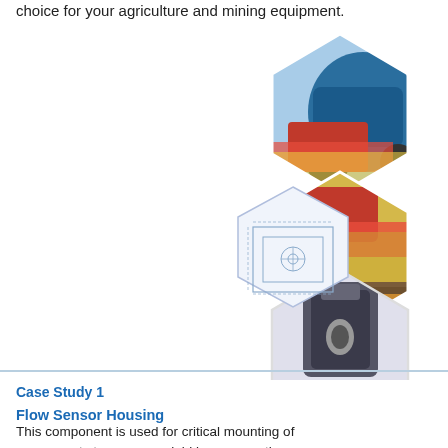choice for your agriculture and mining equipment.
[Figure (illustration): Hexagonal collage of agriculture and mining equipment images including a tractor, red harvesting equipment, a dark metal component (flow sensor housing), and mining/harvesting machinery. Also includes a technical drawing of a sensor housing component.]
Case Study 1
Flow Sensor Housing
This component is used for critical mounting of components to measure yield in crops as they are harvested. Contoured design